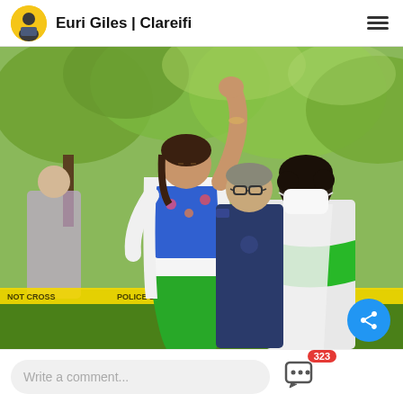Euri Giles | Clareifi
[Figure (photo): People at a protest or demonstration near a police line. A woman in the foreground wearing a white jacket and blue floral top raises her fist in the air. Behind her is a man in a blue uniform with glasses, and to the right is a woman wearing a white mask and green bandana. Yellow police tape reading 'POLICE LINE DO NOT CROSS' is visible in the background. Trees with green foliage form the background.]
Write a comment...
323